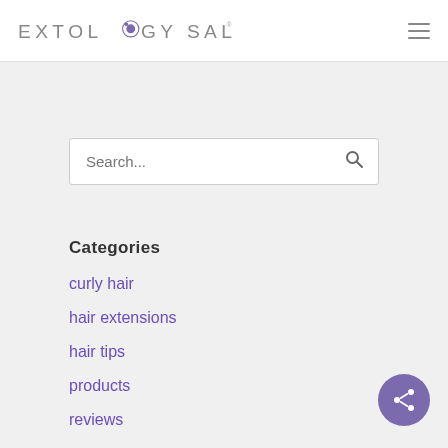EXTOLOGY SALON
Search...
Categories
curly hair
hair extensions
hair tips
products
reviews